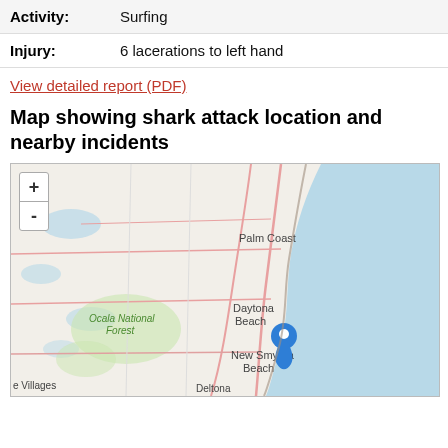| Activity: | Surfing |
| Injury: | 6 lacerations to left hand |
View detailed report (PDF)
Map showing shark attack location and nearby incidents
[Figure (map): Map showing the Florida east coast with a blue location pin near New Smyrna Beach/Daytona Beach area. Map includes labels for Palm Coast, Daytona Beach, New Smyrna Beach, Ocala National Forest, Deltona, and The Villages. Zoom in (+) and zoom out (-) controls are visible in the top left corner.]